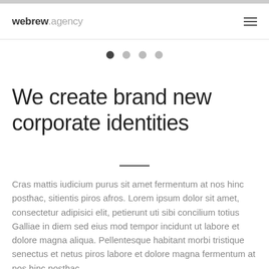webrew.agency
[Figure (other): Slideshow pagination dots — one dark active dot followed by three lighter inactive dots]
We create brand new corporate identities
Cras mattis iudicium purus sit amet fermentum at nos hinc posthac, sitientis piros afros. Lorem ipsum dolor sit amet, consectetur adipisici elit, petierunt uti sibi concilium totius Galliae in diem sed eius mod tempor incidunt ut labore et dolore magna aliqua. Pellentesque habitant morbi tristique senectus et netus piros labore et dolore magna fermentum at nos hinc posthac,